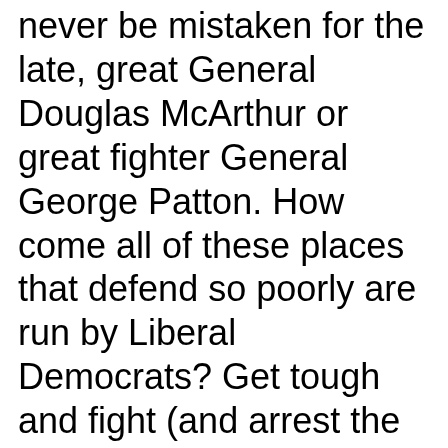never be mistaken for the late, great General Douglas McArthur or great fighter General George Patton. How come all of these places that defend so poorly are run by Liberal Democrats? Get tough and fight (and arrest the bad ones). STRENGTH!
10:25 AM · 5/30/20 · Twitter for iPhone
The president misspelled MacArthur, but more importantly fails to realize the difference between a general – whose job is to kill enemies on a battlefield